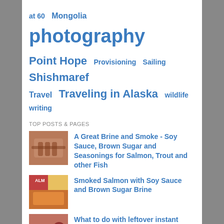at 60  Mongolia  photography
Point Hope  Provisioning  Sailing  Shishmaref  Travel  Traveling in Alaska  wildlife  writing
TOP POSTS & PAGES
A Great Brine and Smoke - Soy Sauce, Brown Sugar and Seasonings for Salmon, Trout and other Fish
Smoked Salmon with Soy Sauce and Brown Sugar Brine
What to do with leftover instant oatmeal packets? Maple and Brown Sugar Muffins, Of Course!
Mongolia's Impressive Red Deer
A Homemade Spice and Seasoning Mix